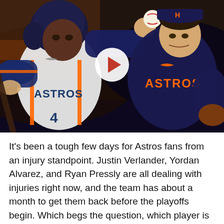[Figure (photo): Two Houston Astros baseball players composite image. Left: a batter in white Astros home uniform with navy/orange accents, number 4, holding a bat. Right: a pitcher in navy Astros away uniform mid-throw holding a baseball. A white circular play button overlay is centered on the image, indicating this is a video thumbnail.]
It's been a tough few days for Astros fans from an injury standpoint. Justin Verlander, Yordan Alvarez, and Ryan Pressly are all dealing with injuries right now, and the team has about a month to get them back before the playoffs begin. Which begs the question, which player is